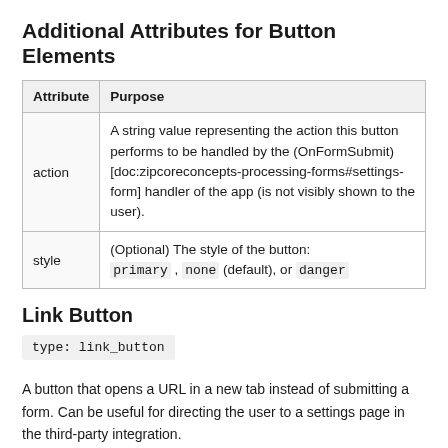Additional Attributes for Button Elements
| Attribute | Purpose |
| --- | --- |
| action | A string value representing the action this button performs to be handled by the (OnFormSubmit) [doc:zipcoreconcepts-processing-forms#settings-form] handler of the app (is not visibly shown to the user). |
| style | (Optional) The style of the button: primary , none (default), or danger |
Link Button
type: link_button
A button that opens a URL in a new tab instead of submitting a form. Can be useful for directing the user to a settings page in the third-party integration.